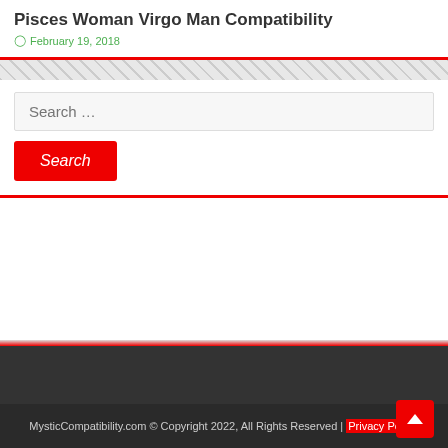Pisces Woman Virgo Man Compatibility
February 19, 2018
Search …
Search
MysticCompatibility.com © Copyright 2022, All Rights Reserved | Privacy Policy